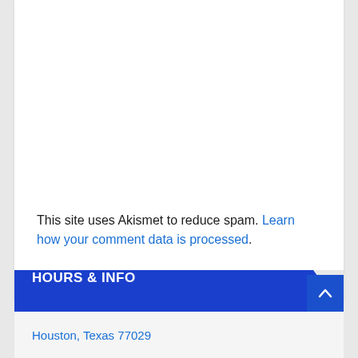This site uses Akismet to reduce spam. Learn how your comment data is processed.
HOURS & INFO
Houston, Texas 77029